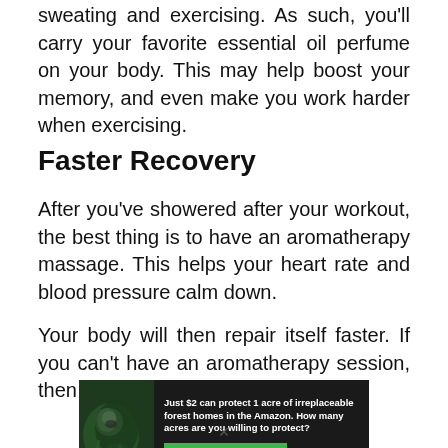sweating and exercising. As such, you'll carry your favorite essential oil perfume on your body. This may help boost your memory, and even make you work harder when exercising.
Faster Recovery
After you've showered after your workout, the best thing is to have an aromatherapy massage. This helps your heart rate and blood pressure calm down.
Your body will then repair itself faster. If you can't have an aromatherapy session, then
[Figure (infographic): Advertisement banner: dark background with forest/animal imagery on the left, text reading 'Just $2 can protect 1 acre of irreplaceable forest homes in the Amazon. How many acres are you willing to protect?' and a green button 'PROTECT FORESTS NOW']
x